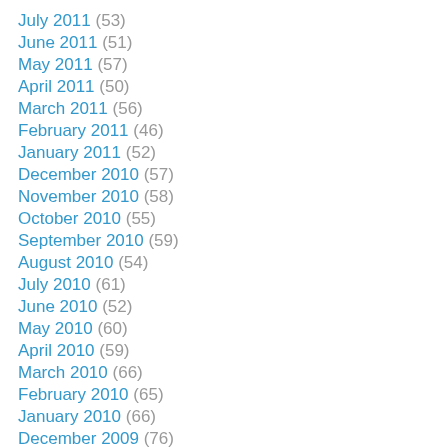July 2011 (53)
June 2011 (51)
May 2011 (57)
April 2011 (50)
March 2011 (56)
February 2011 (46)
January 2011 (52)
December 2010 (57)
November 2010 (58)
October 2010 (55)
September 2010 (59)
August 2010 (54)
July 2010 (61)
June 2010 (52)
May 2010 (60)
April 2010 (59)
March 2010 (66)
February 2010 (65)
January 2010 (66)
December 2009 (76)